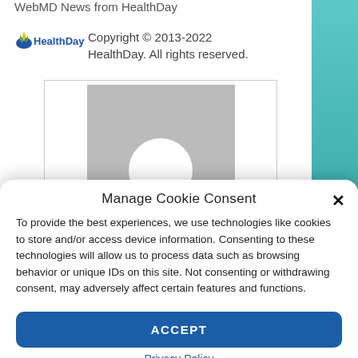WebMD News from HealthDay
Copyright © 2013-2022 HealthDay. All rights reserved.
[Figure (photo): Gray placeholder avatar image with white circle (profile photo placeholder)]
Manage Cookie Consent
To provide the best experiences, we use technologies like cookies to store and/or access device information. Consenting to these technologies will allow us to process data such as browsing behavior or unique IDs on this site. Not consenting or withdrawing consent, may adversely affect certain features and functions.
ACCEPT
Privacy Policy